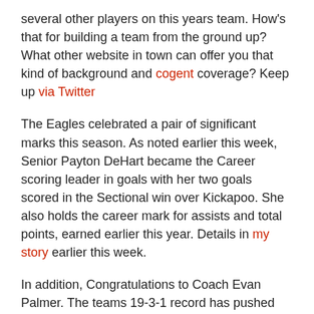several other players on this years team. How's that for building a team from the ground up? What other website in town can offer you that kind of background and cogent coverage? Keep up via Twitter
The Eagles celebrated a pair of significant marks this season. As noted earlier this week, Senior Payton DeHart became the Career scoring leader in goals with her two goals scored in the Sectional win over Kickapoo. She also holds the career mark for assists and total points, earned earlier this year. Details in my story earlier this week.
In addition, Congratulations to Coach Evan Palmer. The teams 19-3-1 record has pushed his Girls career record to 201-183-12. He earned his 400th overall win as a Coach during the Fall 2013 Boys season. His overall win total is somewhere around 425 now.